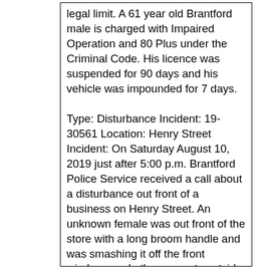legal limit. A 61 year old Brantford male is charged with Impaired Operation and 80 Plus under the Criminal Code. His licence was suspended for 90 days and his vehicle was impounded for 7 days.

Type: Disturbance Incident: 19-30561 Location: Henry Street Incident: On Saturday August 10, 2019 just after 5:00 p.m. Brantford Police Service received a call about a disturbance out front of a business on Henry Street. An unknown female was out front of the store with a long broom handle and was smashing it off the front windows and other property outside the store. The female was yelling and screaming at employees and customers that were coming and going from the business. As the